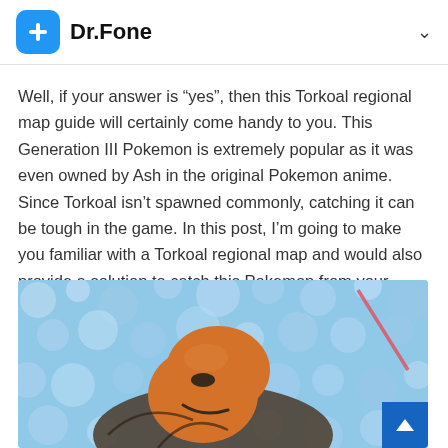Dr.Fone
Well, if your answer is “yes”, then this Torkoal regional map guide will certainly come handy to you. This Generation III Pokemon is extremely popular as it was even owned by Ash in the original Pokemon anime. Since Torkoal isn’t spawned commonly, catching it can be tough in the game. In this post, I’m going to make you familiar with a Torkoal regional map and would also provide a solution to catch this Pokemon from your home.
[Figure (illustration): Torkoal Pokemon character (orange turtle-like creature) on a blue bokeh background]